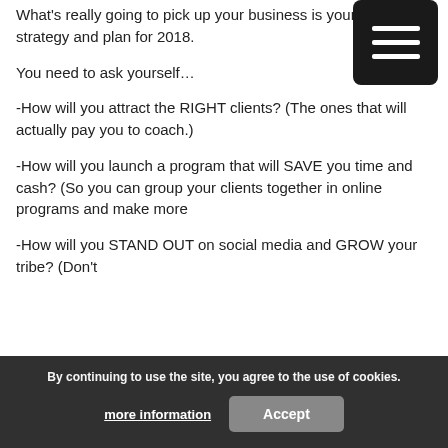What's really going to pick up your business is your strategy and plan for 2018.
You need to ask yourself…
-How will you attract the RIGHT clients? (The ones that will actually pay you to coach.)
-How will you launch a program that will SAVE you time and cash? (So you can group your clients together in online programs and make more money with less time or effort.)
-How will you STAND OUT on social media and GROW your tribe? (Don't
By continuing to use the site, you agree to the use of cookies.
more information   Accept